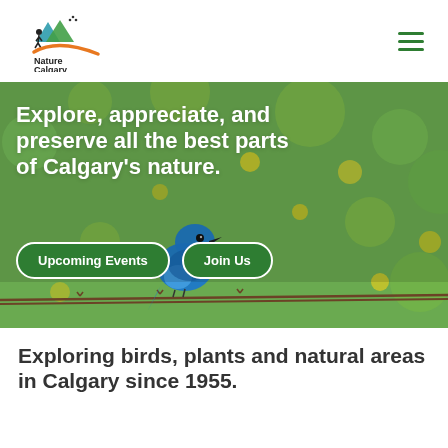Nature Calgary
[Figure (photo): A bright blue mountain bluebird perched on barbed wire against a blurred green background with yellow flowers. Overlaid with text and green buttons.]
Explore, appreciate, and preserve all the best parts of Calgary's nature.
Upcoming Events
Join Us
Exploring birds, plants and natural areas in Calgary since 1955.